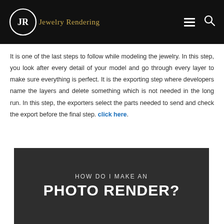Jewelry Rendering
It is one of the last steps to follow while modeling the jewelry. In this step, you look after every detail of your model and go through every layer to make sure everything is perfect. It is the exporting step where developers name the layers and delete something which is not needed in the long run. In this step, the exporters select the parts needed to send and check the export before the final step. click here.
[Figure (infographic): Dark gray banner with text: HOW DO I MAKE AN PHOTO RENDER?]